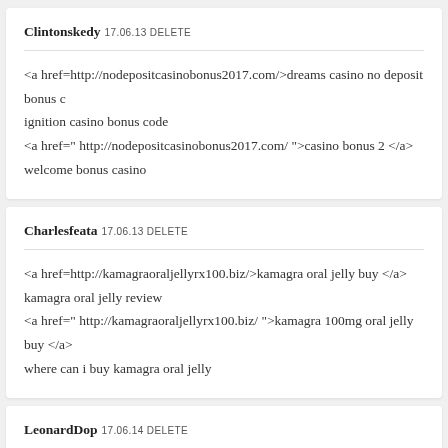Clintonskedy 17.06.13 DELETE
<a href=http://nodepositcasinobonus2017.com/>dreams casino no deposit bonus c
ignition casino bonus code
<a href=" http://nodepositcasinobonus2017.com/ ">casino bonus 2 </a>
welcome bonus casino
Charlesfeata 17.06.13 DELETE
<a href=http://kamagraoraljellyrx100.biz/>kamagra oral jelly buy </a>
kamagra oral jelly review
<a href=" http://kamagraoraljellyrx100.biz/ ">kamagra 100mg oral jelly buy </a>
where can i buy kamagra oral jelly
LeonardDop 17.06.14 DELETE